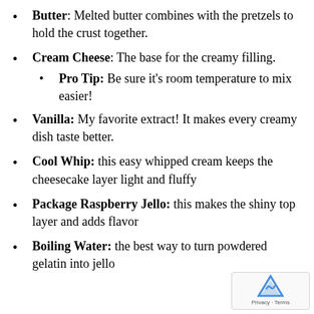Butter: Melted butter combines with the pretzels to hold the crust together.
Cream Cheese: The base for the creamy filling.
Pro Tip: Be sure it's room temperature to mix easier!
Vanilla: My favorite extract! It makes every creamy dish taste better.
Cool Whip: this easy whipped cream keeps the cheesecake layer light and fluffy
Package Raspberry Jello: this makes the shiny top layer and adds flavor
Boiling Water: the best way to turn powdered gelatin into jello